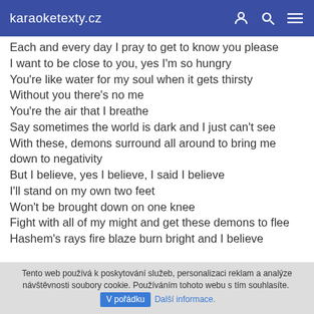karaoketexty.cz
Each and every day I pray to get to know you please
I want to be close to you, yes I'm so hungry
You're like water for my soul when it gets thirsty
Without you there's no me
You're the air that I breathe
Say sometimes the world is dark and I just can't see
With these, demons surround all around to bring me down to negativity
But I believe, yes I believe, I said I believe
I'll stand on my own two feet
Won't be brought down on one knee
Fight with all of my might and get these demons to flee
Hashem's rays fire blaze burn bright and I believe
Tento web používá k poskytování služeb, personalizaci reklam a analýze návštěvnosti soubory cookie. Používáním tohoto webu s tím souhlasíte. V pořádku Další informace.